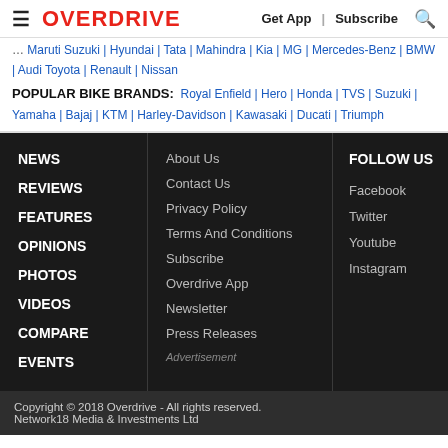OVERDRIVE | Get App | Subscribe
Mahindra | Kia | MG | Mercedes-Benz | BMW | Audi Toyota | Renault | Nissan
POPULAR BIKE BRANDS: Royal Enfield | Hero | Honda | TVS | Suzuki | Yamaha | Bajaj | KTM | Harley-Davidson | Kawasaki | Ducati | Triumph
NEWS
REVIEWS
FEATURES
OPINIONS
PHOTOS
VIDEOS
COMPARE
EVENTS
About Us
Contact Us
Privacy Policy
Terms And Conditions
Subscribe
Overdrive App
Newsletter
Press Releases
FOLLOW US
Facebook
Twitter
Youtube
Instagram
Copyright © 2018 Overdrive - All rights reserved.
Network18 Media & Investments Ltd